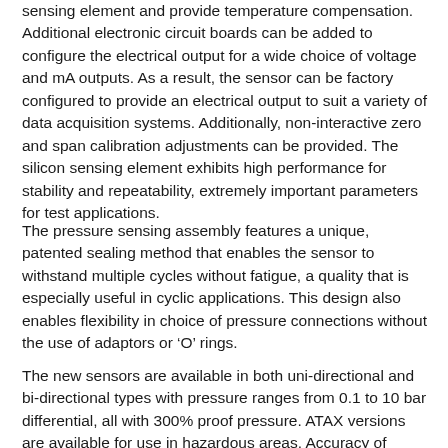sensing element and provide temperature compensation. Additional electronic circuit boards can be added to configure the electrical output for a wide choice of voltage and mA outputs. As a result, the sensor can be factory configured to provide an electrical output to suit a variety of data acquisition systems. Additionally, non-interactive zero and span calibration adjustments can be provided. The silicon sensing element exhibits high performance for stability and repeatability, extremely important parameters for test applications.
The pressure sensing assembly features a unique, patented sealing method that enables the sensor to withstand multiple cycles without fatigue, a quality that is especially useful in cyclic applications. This design also enables flexibility in choice of pressure connections without the use of adaptors or 'O' rings.
The new sensors are available in both uni-directional and bi-directional types with pressure ranges from 0.1 to 10 bar differential, all with 300% proof pressure. ATAX versions are available for use in hazardous areas. Accuracy of 0.05% full